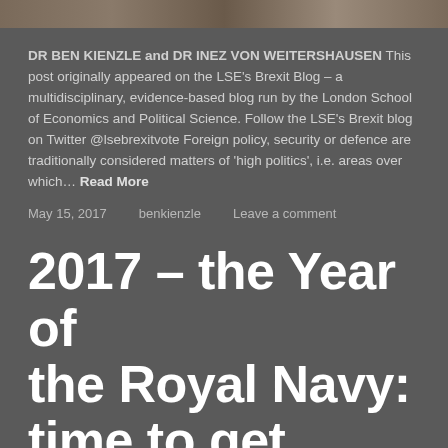[Figure (photo): Top banner image strip showing a blurred outdoor scene in muted brown and tan tones]
DR BEN KIENZLE and DR INEZ VON WEITERSHAUSEN This post originally appeared on the LSE’s Brexit Blog – a multidisciplinary, evidence-based blog run by the London School of Economics and Political Science. Follow the LSE’s Brexit blog on Twitter @lsebrexitvote Foreign policy, security or defence are traditionally considered matters of ‘high politics’, i.e. areas over which… Read More
May 15, 2017     benkienzle     Leave a comment
2017 – the Year of the Royal Navy: time to get real?